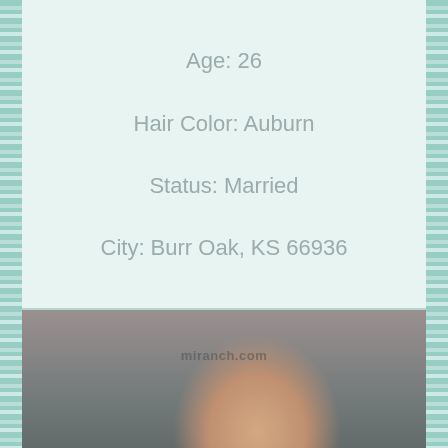Age: 26
Hair Color: Auburn
Status: Married
City: Burr Oak, KS 66936
[Figure (photo): Portrait photo of a young woman with dark hair, wearing a black top, photographed from above at an angle. Watermark reads miranch.com.]